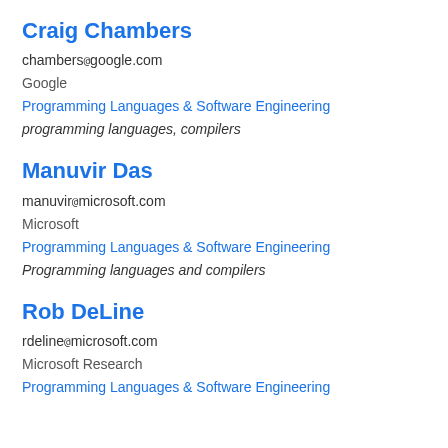Craig Chambers
chambers@google.com
Google
Programming Languages & Software Engineering
programming languages, compilers
Manuvir Das
manuvir@microsoft.com
Microsoft
Programming Languages & Software Engineering
Programming languages and compilers
Rob DeLine
rdeline@microsoft.com
Microsoft Research
Programming Languages & Software Engineering